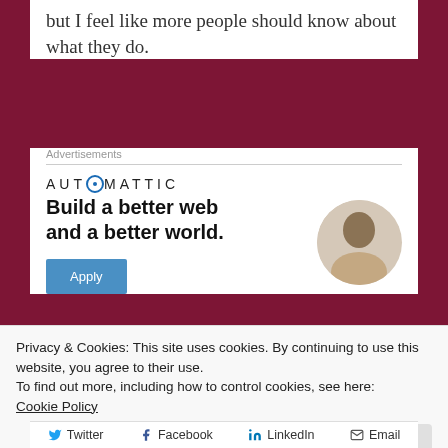but I feel like more people should know about what they do.
Advertisements
[Figure (logo): Automattic logo with stylized O in the middle of the word]
[Figure (infographic): Automattic job advertisement: 'Build a better web and a better world.' with Apply button and photo of a man looking upward]
Privacy & Cookies: This site uses cookies. By continuing to use this website, you agree to their use.
To find out more, including how to control cookies, see here: Cookie Policy
Close and accept
Twitter  Facebook  LinkedIn  Email